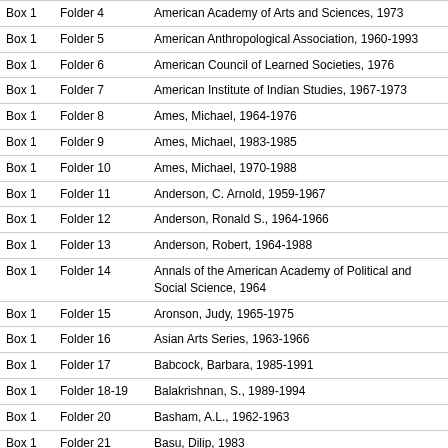| Box | Folder | Description |
| --- | --- | --- |
| Box 1 | Folder 4 | American Academy of Arts and Sciences, 1973 |
| Box 1 | Folder 5 | American Anthropological Association, 1960-1993 |
| Box 1 | Folder 6 | American Council of Learned Societies, 1976 |
| Box 1 | Folder 7 | American Institute of Indian Studies, 1967-1973 |
| Box 1 | Folder 8 | Ames, Michael, 1964-1976 |
| Box 1 | Folder 9 | Ames, Michael, 1983-1985 |
| Box 1 | Folder 10 | Ames, Michael, 1970-1988 |
| Box 1 | Folder 11 | Anderson, C. Arnold, 1959-1967 |
| Box 1 | Folder 12 | Anderson, Ronald S., 1964-1966 |
| Box 1 | Folder 13 | Anderson, Robert, 1964-1988 |
| Box 1 | Folder 14 | Annals of the American Academy of Political and Social Science, 1964 |
| Box 1 | Folder 15 | Aronson, Judy, 1965-1975 |
| Box 1 | Folder 16 | Asian Arts Series, 1963-1966 |
| Box 1 | Folder 17 | Babcock, Barbara, 1985-1991 |
| Box 1 | Folder 18-19 | Balakrishnan, S., 1989-1994 |
| Box 1 | Folder 20 | Basham, A.L., 1962-1963 |
| Box 1 | Folder 21 | Basu, Dilip, 1983 |
| Box 1 | Folder 22 | Bate, J. Bernard, 1987-1994 |
| Box 2 | Folder 1 | Bateson, Mary Catherine, 1983 |
| Box 2 | Folder 2 | Beadle, George W., undated |